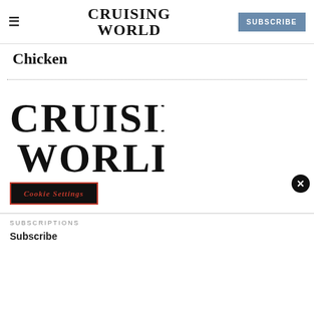≡  CRUISING WORLD  SUBSCRIBE
Chicken
[Figure (logo): Cruising World large logo in serif font]
Cookie Settings
SUBSCRIPTIONS
Subscribe